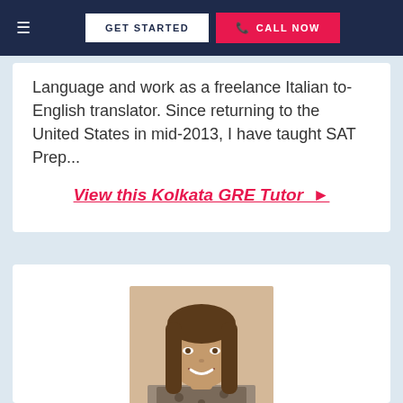GET STARTED | CALL NOW
Language and work as a freelance Italian to-English translator. Since returning to the United States in mid-2013, I have taught SAT Prep...
View this Kolkata GRE Tutor ►
[Figure (photo): Photo of a young woman with long brown hair, smiling, wearing a patterned top, against a beige/cream background wall.]